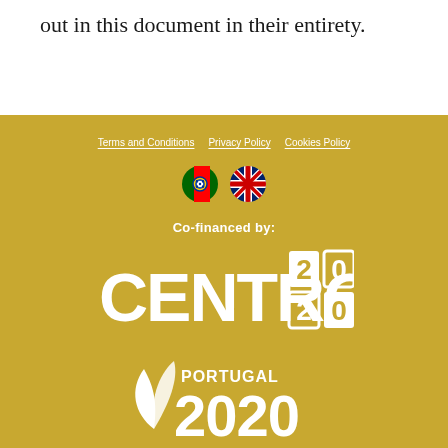out in this document in their entirety.
Terms and Conditions  Privacy Policy  Cookies Policy
[Figure (illustration): Portuguese flag circle icon and UK flag circle icon]
Co-financed by:
[Figure (logo): CENTRO 2020 logo in white on gold background]
[Figure (logo): Portugal 2020 logo in white on gold background]